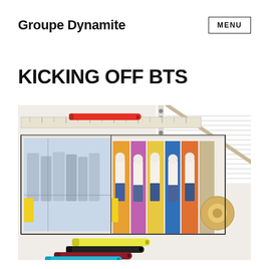Groupe Dynamite
KICKING OFF BTS
[Figure (illustration): A retail store window display design sketch for Garage showing mannequins dressed in denim, a large GARAGE sign in pink lettering, bright yellow and colorful clothing panels, surrounded by design tools including a ruler, red marker, tape roll, colored markers (yellow highlighter, black, red/maroon, cyan) placed on a white surface with a spiral notebook in background.]